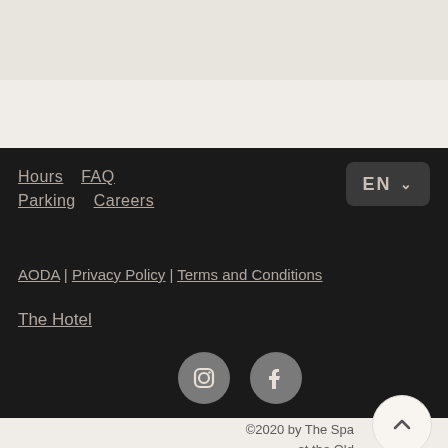[Figure (screenshot): Website footer screenshot showing navigation links, language selector, legal links, hotel link, social media icons, copyright notice, back-to-top button, and more options button on a dark background.]
Hours
FAQ
Parking
Careers
AODA | Privacy Policy | Terms and Conditions
The Hotel
©2020 by The Spa at the Old Mill